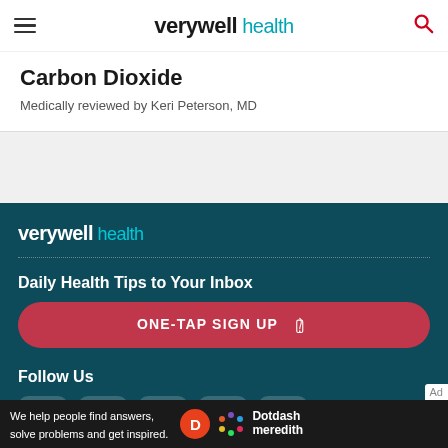verywell health
Carbon Dioxide
Medically reviewed by Keri Peterson, MD
[Figure (logo): Verywell Health footer logo in white and teal on dark teal background]
Daily Health Tips to Your Inbox
ONE-TAP SIGN UP
Follow Us
[Figure (infographic): Social media icons: Instagram, Twitter, Facebook, Pinterest, Flipboard]
We help people find answers, solve problems and get inspired. Dotdash meredith